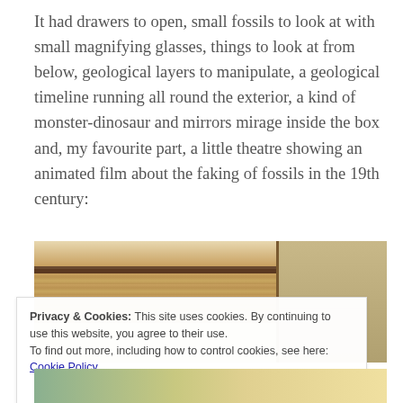It had drawers to open, small fossils to look at with small magnifying glasses, things to look at from below, geological layers to manipulate, a geological timeline running all round the exterior, a kind of monster-dinosaur and mirrors mirage inside the box and, my favourite part, a little theatre showing an animated film about the faking of fossils in the 19th century:
[Figure (photo): Photograph of a wooden museum display box or cabinet showing geological timeline panels with drawings and text, wood grain surface and glass panels visible]
Privacy & Cookies: This site uses cookies. By continuing to use this website, you agree to their use.
To find out more, including how to control cookies, see here: Cookie Policy
Close and accept
[Figure (photo): Partial view of another photograph at the bottom of the page, partially obscured by the cookie banner]